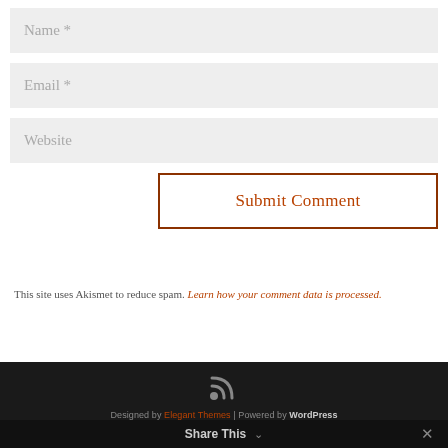[Figure (screenshot): Comment form with Name, Email, Website input fields, and Submit Comment button]
This site uses Akismet to reduce spam. Learn how your comment data is processed.
Designed by Elegant Themes | Powered by WordPress